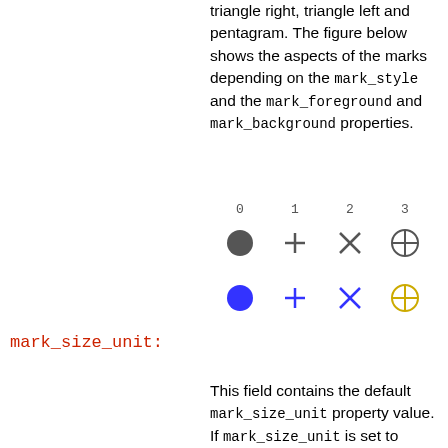triangle right, triangle left and pentagram. The figure below shows the aspects of the marks depending on the mark_style and the mark_foreground and mark_background properties.
[Figure (illustration): Grid showing mark styles 0-3 in two rows: top row (gray marks): filled circle, plus, X, circle-plus; bottom row (blue marks): filled circle, plus, X, circle-plus]
mark_size_unit:
This field contains the default mark_size_unit property value. If mark_size_unit is set to "point", then the mark_size value is